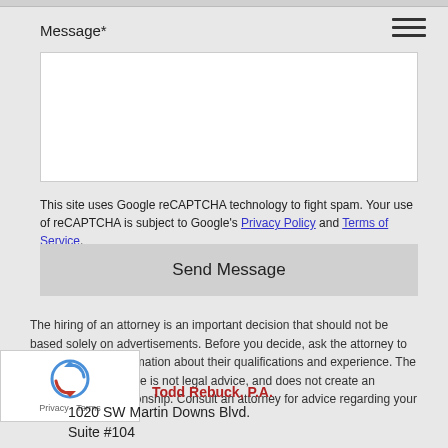Message*
[Figure (screenshot): Empty white textarea input field for message entry]
This site uses Google reCAPTCHA technology to fight spam. Your use of reCAPTCHA is subject to Google's Privacy Policy and Terms of Service.
Send Message
The hiring of an attorney is an important decision that should not be based solely on advertisements. Before you decide, ask the attorney to provide written information about their qualifications and experience. The information at this site is not legal advice, and does not create an attorney-client relationship. Consult an attorney for advice regarding your situation.
Todd Rebuck, P.A.
1020 SW Martin Downs Blvd.
Suite #104